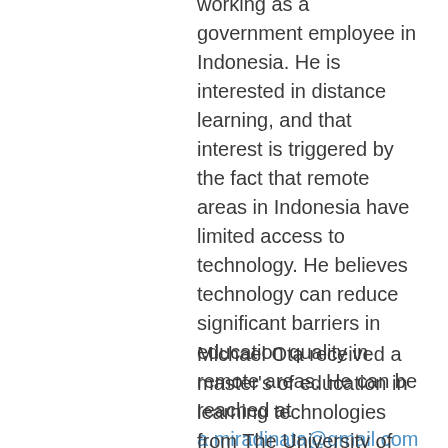working as a government employee in Indonesia. He is interested in distance learning, and that interest is triggered by the fact that remote areas in Indonesia have limited access to technology. He believes technology can reduce significant barriers in education quality in remote areas. He can be reached at a.miradinata@gmail.com
Michael Ota received a master's of education in learning technologies from The University of Texas at Austin and is currently pursuing a second master's in special education. He teaches math and technology in a specialized school for students with